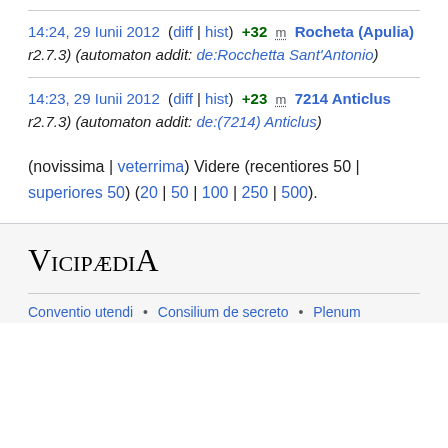14:24, 29 Iunii 2012  (diff | hist)  +32  m  Rocheta (Apulia)
r2.7.3) (automaton addit: de:Rocchetta Sant'Antonio
14:23, 29 Iunii 2012  (diff | hist)  +23  m  7214 Anticlus
r2.7.3) (automaton addit: de:(7214) Anticlus
(novissima | veterrima) Videre (recentiores 50 | superiores 50) (20 | 50 | 100 | 250 | 500).
VicipædiA — Conventio utendi • Consilium de secreto • Plenum